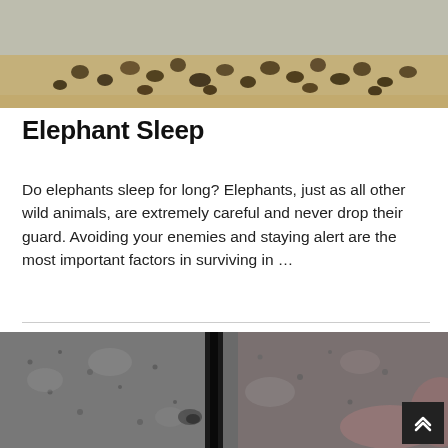[Figure (photo): Close-up photo of scattered dark round pellets or seeds on a sandy/straw-colored surface with bluish-grey blurred background]
Elephant Sleep
Do elephants sleep for long? Elephants, just as all other wild animals, are extremely careful and never drop their guard. Avoiding your enemies and staying alert are the most important factors in surviving in …
[Figure (photo): Close-up photo of elephant skin showing detailed wrinkled grey-black textured hide with a dark crease/fold down the center]